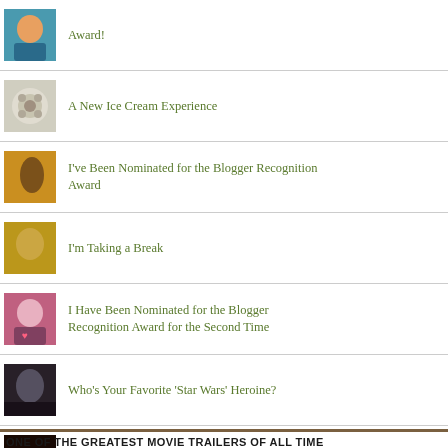Award!
A New Ice Cream Experience
I've Been Nominated for the Blogger Recognition Award
I'm Taking a Break
I Have Been Nominated for the Blogger Recognition Award for the Second Time
Who's Your Favorite 'Star Wars' Heroine?
'Halloween Is The 'Jaws' of Horror Movies
ONE OF THE GREATEST MOVIE TRAILERS OF ALL TIME